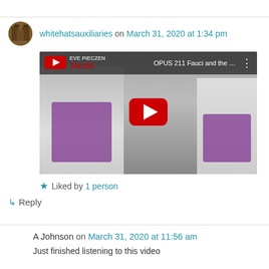whitehatsauxiliaries on March 31, 2020 at 1:34 pm
[Figure (screenshot): YouTube video embed thumbnail showing clergy in purple and white vestments, with a red YouTube play button overlay. Video title: OPUS 211 Fauci and the P...]
★ Liked by 1 person
↵ Reply
A Johnson on March 31, 2020 at 11:56 am
Just finished listening to this video